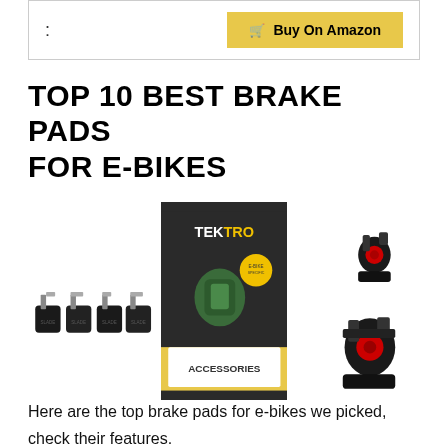: Buy On Amazon
TOP 10 BEST BRAKE PADS FOR E-BIKES
[Figure (photo): Three product images of brake pads for e-bikes: left shows four black disc brake pads with metal clips, center shows a Tektro branded accessories package with green brake pads on dark background with yellow accent, right shows two black mechanical disc brake calipers with red accents.]
Here are the top brake pads for e-bikes we picked, check their features.